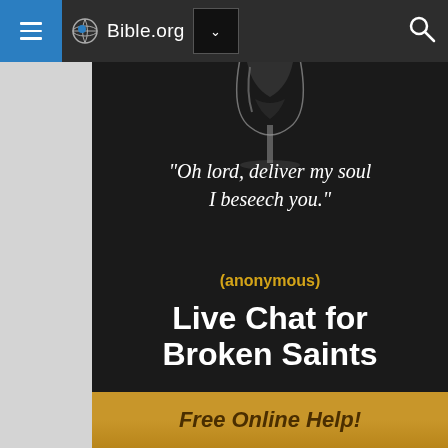Bible.org
[Figure (screenshot): Bible.org website screenshot showing a dark promotional card with a wine glass image, a quote in italic script, anonymous attribution, and a Live Chat for Broken Saints heading with a golden Free Online Help button at bottom.]
"Oh lord, deliver my soul I beseech you."
(anonymous)
Live Chat for Broken Saints
Free Online Help!